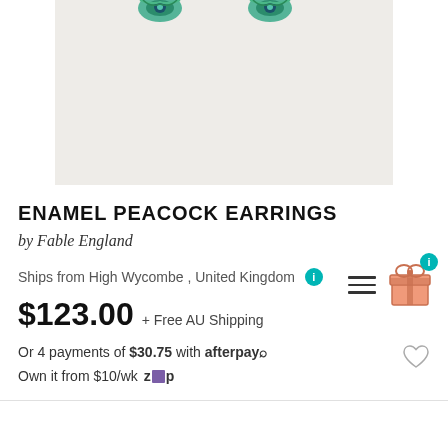[Figure (photo): Product photo of enamel peacock earrings on a light beige/grey background, partially cropped showing tops of earrings with teal and green peacock feather design]
ENAMEL PEACOCK EARRINGS
by Fable England
Ships from High Wycombe , United Kingdom
$123.00 + Free AU Shipping
Or 4 payments of $30.75 with afterpay
Own it from $10/wk zip